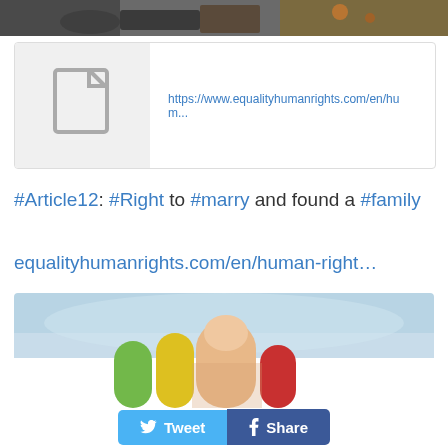[Figure (photo): Close-up photo of shoes/boots on a wooden surface, partially visible at top of page]
[Figure (screenshot): Link preview card with document icon on grey background and URL: https://www.equalityhumanrights.com/en/hum...]
#Article12: #Right to #marry and found a #family
equalityhumanrights.com/en/human-right…
[Figure (photo): Photo of colorful clay or painted fingers/hands being held together against a blue sky background]
Tweet  Share